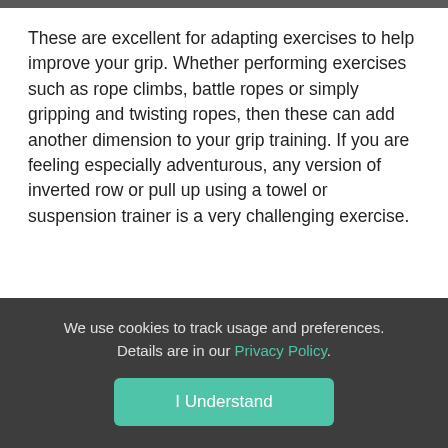[Figure (photo): Partial photo strip at the top of the page (cropped image, mostly obscured)]
These are excellent for adapting exercises to help improve your grip. Whether performing exercises such as rope climbs, battle ropes or simply gripping and twisting ropes, then these can add another dimension to your grip training. If you are feeling especially adventurous, any version of inverted row or pull up using a towel or suspension trainer is a very challenging exercise.
We use cookies to track usage and preferences. Details are in our Privacy Policy.
I Understand